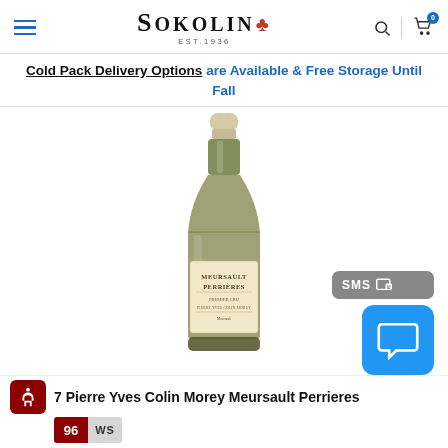Sokolin EST. 1936 [logo header with search and cart icons]
Cold Pack Delivery Options are Available & Free Storage Until Fall
[Figure (photo): A wine bottle with a cream/beige capsule top and a label reading 'Meursault Perrieres'. The bottle has a dark glass body with a white Burgundy-style label.]
7 Pierre Yves Colin Morey Meursault Perrieres
96 WS